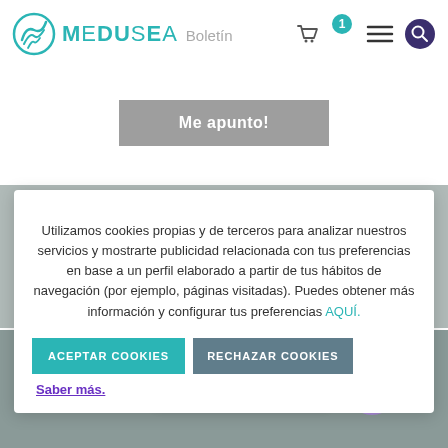MEDUSEA — Boletín
Me apunto!
Utilizamos cookies propias y de terceros para analizar nuestros servicios y mostrarte publicidad relacionada con tus preferencias en base a un perfil elaborado a partir de tus hábitos de navegación (por ejemplo, páginas visitadas). Puedes obtener más información y configurar tus preferencias AQUÍ.
ACEPTAR COOKIES   RECHAZAR COOKIES   Saber más.
Contacta con nosotros